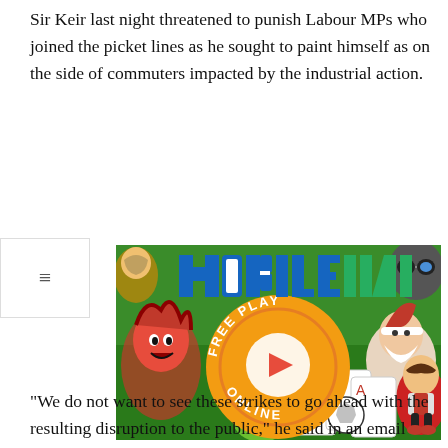Sir Keir last night threatened to punish Labour MPs who joined the picket lines as he sought to paint himself as on the side of commuters impacted by the industrial action.
[Figure (screenshot): Mobile Ini website advertisement showing colorful game characters and a central orange circle with 'FREE PLAY ONLINE' text and a play button, with 'MOBILE INI' logo in blue and green pixel font at the top.]
“We do not want to see these strikes to go ahead with the resulting disruption to the public,” he said in an email